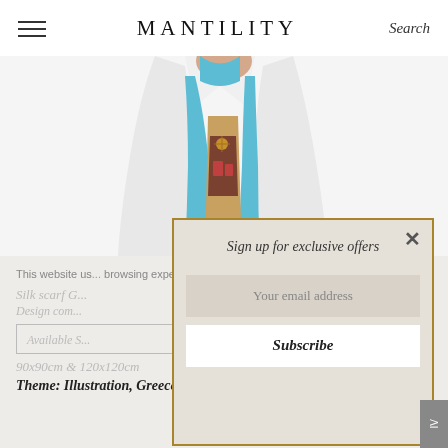MANTILITY | Search
[Figure (photo): Person wearing a white blazer with a colorful silk scarf featuring blue, brown, and floral illustration pattern]
This website us... browsing exper...
Silk scarf G...
Design com...
Available S...
90x90cm & 120x120cm
Theme: Illustration, Greece
[Figure (screenshot): Email signup popup modal with gold border, title 'Sign up for exclusive offers', email input field, and Subscribe button with close X]
Sign up for exclusive offers
Your email address
Subscribe